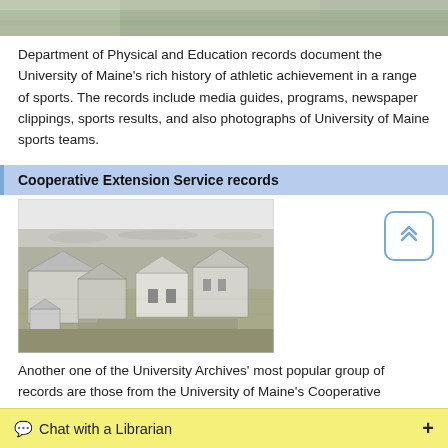[Figure (photo): Partial top of a photograph, appearing to be an outdoor scene with landscape elements.]
Department of Physical and Education records document the University of Maine's rich history of athletic achievement in a range of sports. The records include media guides, programs, newspaper clippings, sports results, and also photographs of University of Maine sports teams.
Cooperative Extension Service records
[Figure (photo): A black and white historical photograph showing several farm buildings and structures on a rural campus, with open fields and trees in the background.]
Another one of the University Archives' most popular group of records are those from the University of Maine's Cooperative Extension Service. The
Chat with a Librarian  +